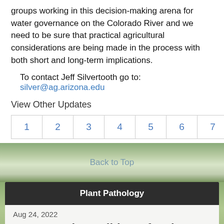groups working in this decision-making arena for water governance on the Colorado River and we need to be sure that practical agricultural considerations are being made in the process with both short and long-term implications.
To contact Jeff Silvertooth go to: silver@ag.arizona.edu
View Other Updates
Pagination: 1 2 3 4 5 6 7 8 (active) 9 10 »
Back to Top
Plant Pathology
Aug 24, 2022
2022 Powdery Mildew of Melon